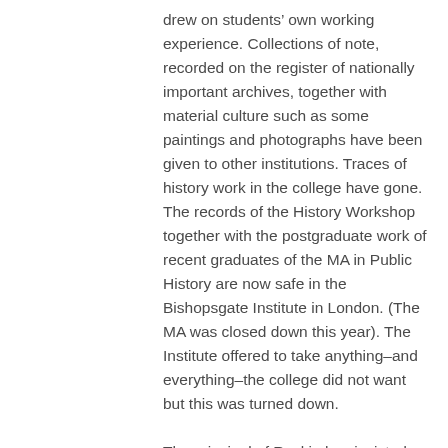drew on students' own working experience. Collections of note, recorded on the register of nationally important archives, together with material culture such as some paintings and photographs have been given to other institutions. Traces of history work in the college have gone. The records of the History Workshop together with the postgraduate work of recent graduates of the MA in Public History are now safe in the Bishopsgate Institute in London. (The MA was closed down this year). The Institute offered to take anything–and everything–the college did not want but this was turned down.

The principal of Ruskin has insisted that